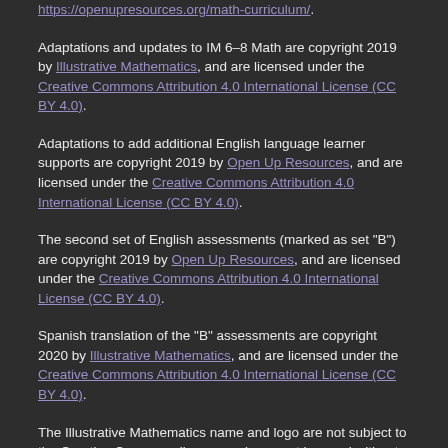https://openupresources.org/math-curriculum/.
Adaptations and updates to IM 6–8 Math are copyright 2019 by Illustrative Mathematics, and are licensed under the Creative Commons Attribution 4.0 International License (CC BY 4.0).
Adaptations to add additional English language learner supports are copyright 2019 by Open Up Resources, and are licensed under the Creative Commons Attribution 4.0 International License (CC BY 4.0).
The second set of English assessments (marked as set "B") are copyright 2019 by Open Up Resources, and are licensed under the Creative Commons Attribution 4.0 International License (CC BY 4.0).
Spanish translation of the "B" assessments are copyright 2020 by Illustrative Mathematics, and are licensed under the Creative Commons Attribution 4.0 International License (CC BY 4.0).
The Illustrative Mathematics name and logo are not subject to the Creative Commons license and may not be used without the prior and express written consent of Illustrative Mathematics.